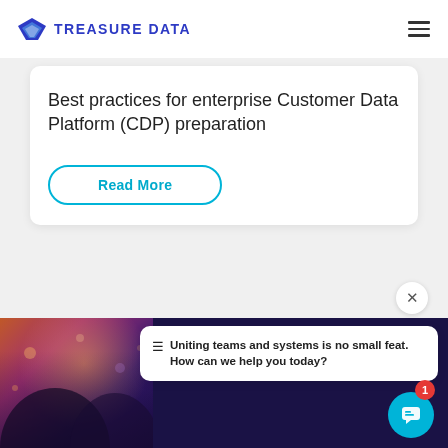TREASURE DATA
Best practices for enterprise Customer Data Platform (CDP) preparation
Read More
Uniting teams and systems is no small feat. How can we help you today?
[Figure (photo): Two people looking at a phone/device, bokeh city lights background with warm orange and purple tones]